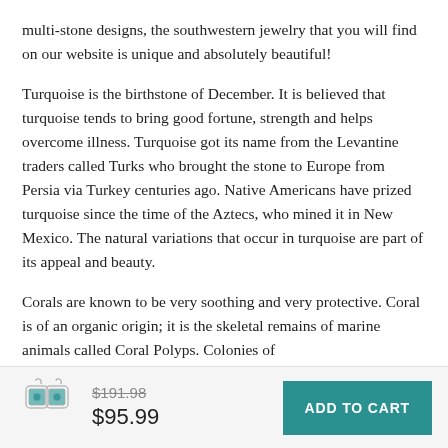multi-stone designs, the southwestern jewelry that you will find on our website is unique and absolutely beautiful!
Turquoise is the birthstone of December. It is believed that turquoise tends to bring good fortune, strength and helps overcome illness. Turquoise got its name from the Levantine traders called Turks who brought the stone to Europe from Persia via Turkey centuries ago. Native Americans have prized turquoise since the time of the Aztecs, who mined it in New Mexico. The natural variations that occur in turquoise are part of its appeal and beauty.
Corals are known to be very soothing and very protective. Coral is of an organic origin; it is the skeletal remains of marine animals called Coral Polyps. Colonies of
[Figure (photo): Turquoise earrings — decorative silver drop earrings with turquoise stone inlay]
$191.98
$95.99
ADD TO CART